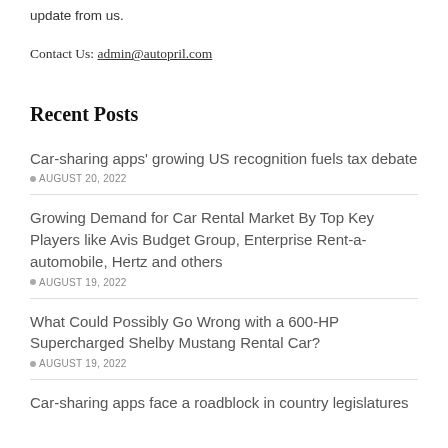update from us.
Contact Us: admin@autopril.com
Recent Posts
Car-sharing apps' growing US recognition fuels tax debate
AUGUST 20, 2022
Growing Demand for Car Rental Market By Top Key Players like Avis Budget Group, Enterprise Rent-a-automobile, Hertz and others
AUGUST 19, 2022
What Could Possibly Go Wrong with a 600-HP Supercharged Shelby Mustang Rental Car?
AUGUST 19, 2022
Car-sharing apps face a roadblock in country legislatures